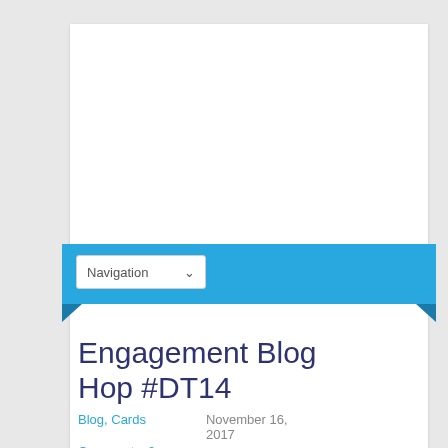[Figure (screenshot): White content area / ad placeholder at top of blog page]
Navigation
Engagement Blog Hop #DT14
Blog, Cards    November 16, 2017    Comments: 2